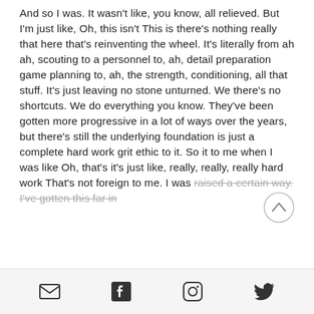And so I was. It wasn't like, you know, all relieved. But I'm just like, Oh, this isn't This is there's nothing really that here that's reinventing the wheel. It's literally from ah ah, scouting to a personnel to, ah, detail preparation game planning to, ah, the strength, conditioning, all that stuff. It's just leaving no stone unturned. We there's no shortcuts. We do everything you know. They've been gotten more progressive in a lot of ways over the years, but there's still the underlying foundation is just a complete hard work grit ethic to it. So it to me when I was like Oh, that's it's just like, really, really, really hard work That's not foreign to me. I was raised a certain way. I've gotten this far in
[Figure (other): Social media footer bar with email, Facebook, Instagram, and Twitter icons]